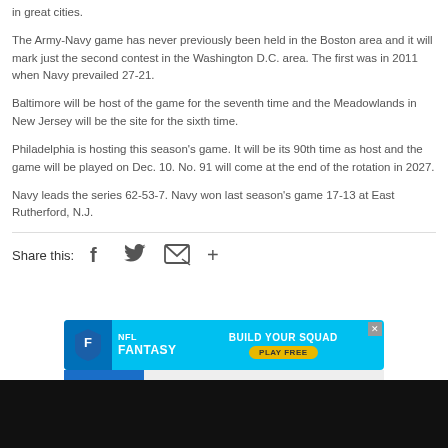in great cities.
The Army-Navy game has never previously been held in the Boston area and it will mark just the second contest in the Washington D.C. area. The first was in 2011 when Navy prevailed 27-21.
Baltimore will be host of the game for the seventh time and the Meadowlands in New Jersey will be the site for the sixth time.
Philadelphia is hosting this season’s game. It will be its 90th time as host and the game will be played on Dec. 10. No. 91 will come at the end of the rotation in 2027.
Navy leads the series 62-53-7. Navy won last season’s game 17-13 at East Rutherford, N.J.
Share this:
[Figure (screenshot): NFL Fantasy Build Your Squad advertisement banner with blue background, shield logo, and Play Free button]